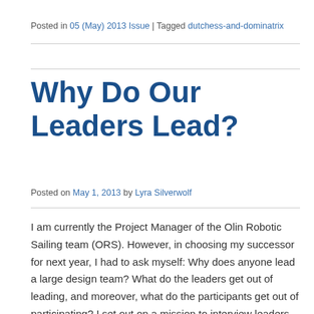Posted in 05 (May) 2013 Issue | Tagged dutchess-and-dominatrix
Why Do Our Leaders Lead?
Posted on May 1, 2013 by Lyra Silverwolf
I am currently the Project Manager of the Olin Robotic Sailing team (ORS). However, in choosing my successor for next year, I had to ask myself: Why does anyone lead a large design team? What do the leaders get out of leading, and moreover, what do the participants get out of participating? I set out on a mission to interview leaders from the other project teams, REVO, HPV and